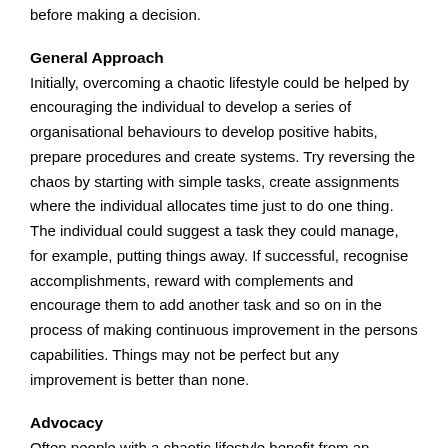before making a decision.
General Approach
Initially, overcoming a chaotic lifestyle could be helped by encouraging the individual to develop a series of organisational behaviours to develop positive habits, prepare procedures and create systems. Try reversing the chaos by starting with simple tasks, create assignments where the individual allocates time just to do one thing. The individual could suggest a task they could manage, for example, putting things away. If successful, recognise accomplishments, reward with complements and encourage them to add another task and so on in the process of making continuous improvement in the persons capabilities. Things may not be perfect but any improvement is better than none.
Advocacy
Often people with a chaotic lifestyle benefit from an advocacy service to help represent them, secure benefits, request help